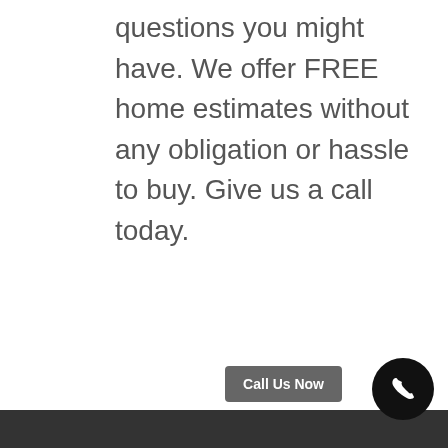questions you might have. We offer FREE home estimates without any obligation or hassle to buy. Give us a call today.
Call Us Now